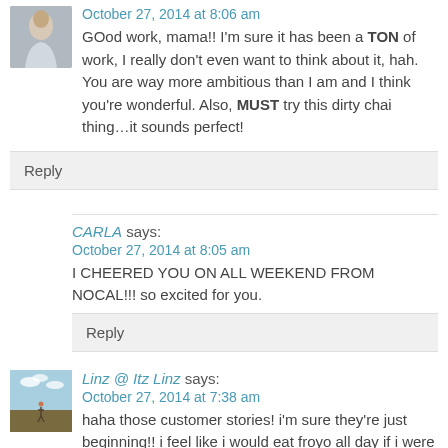October 27, 2014 at 8:06 am
GOod work, mama!! I'm sure it has been a TON of work, I really don't even want to think about it, hah. You are way more ambitious than I am and I think you're wonderful. Also, MUST try this dirty chai thing…it sounds perfect!
Reply
CARLA says:
October 27, 2014 at 8:05 am
I CHEERED YOU ON ALL WEEKEND FROM NOCAL!!! so excited for you.
Reply
[Figure (photo): Avatar photo of Linz @ Itz Linz — outdoor scene with sky and figure]
Linz @ Itz Linz says:
October 27, 2014 at 7:38 am
haha those customer stories! i'm sure they're just beginning!! i feel like i would eat froyo all day if i were